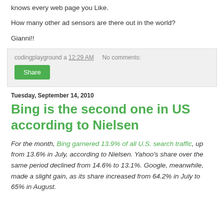knows every web page you Like.
How many other ad sensors are there out in the world?
Gianni!!
codingplayground a 12:29 AM    No comments:
Share
Tuesday, September 14, 2010
Bing is the second one in US according to Nielsen
For the month, Bing garnered 13.9% of all U.S. search traffic, up from 13.6% in July, according to Nielsen. Yahoo's share over the same period declined from 14.6% to 13.1%. Google, meanwhile, made a slight gain, as its share increased from 64.2% in July to 65% in August.